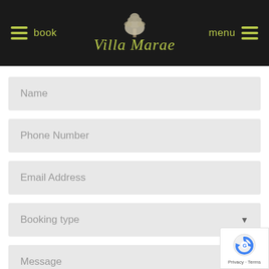[Figure (screenshot): Villa Marae website header with dark background, hamburger menu icons, 'book' and 'menu' links in olive/yellow-green, centered logo with tree illustration and italic script text 'Villa Marae']
Name
Phone Number
Email Address
Booking type
Message